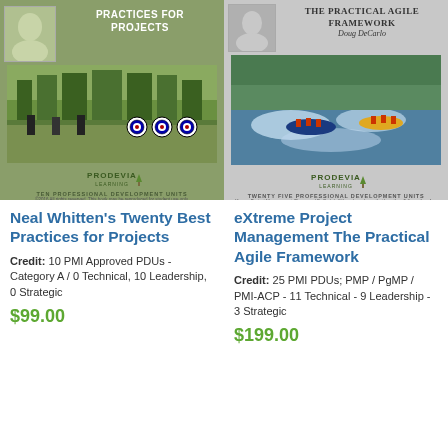[Figure (photo): Book cover for Neal Whitten's Twenty Best Practices for Projects — green background with archery targets, Prodevia Learning logo]
[Figure (photo): Book cover for eXtreme Project Management The Practical Agile Framework — gray background with whitewater rafting photo, Prodevia Learning logo]
Neal Whitten's Twenty Best Practices for Projects
Credit: 10 PMI Approved PDUs - Category A / 0 Technical, 10 Leadership, 0 Strategic
$99.00
eXtreme Project Management The Practical Agile Framework
Credit: 25 PMI PDUs; PMP / PgMP / PMI-ACP - 11 Technical - 9 Leadership - 3 Strategic
$199.00